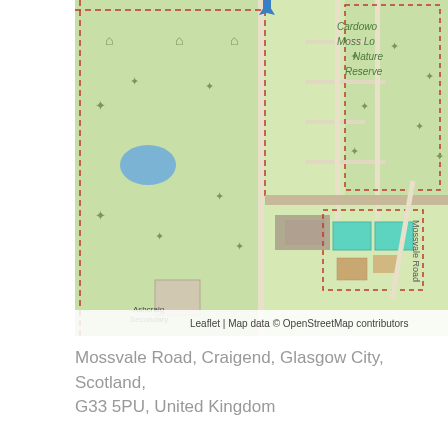[Figure (map): OpenStreetMap showing Mossvale Road area in Craigend, Glasgow. Features green park areas, roads, buildings including Ashcraig Secondary school, and Cardowan Moss Local Nature Reserve label in top right. Blue marker pin at top center. Attribution: Leaflet | Map data © OpenStreetMap contributors.]
Mossvale Road, Craigend, Glasgow City, Scotland, G33 5PU, United Kingdom
RESULTS
| TEAM | SCORES |
| --- | --- |